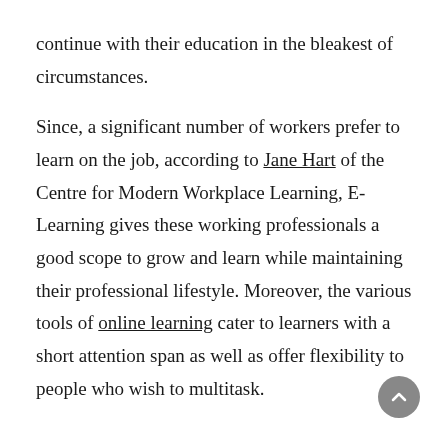continue with their education in the bleakest of circumstances.

Since, a significant number of workers prefer to learn on the job, according to Jane Hart of the Centre for Modern Workplace Learning, E-Learning gives these working professionals a good scope to grow and learn while maintaining their professional lifestyle. Moreover, the various tools of online learning cater to learners with a short attention span as well as offer flexibility to people who wish to multitask.